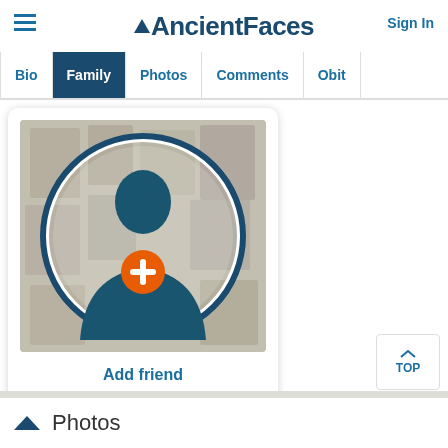AncientFaces
Sign In
Bio  Family  Photos  Comments  Obit
[Figure (illustration): Add friend profile placeholder icon: circular frame with a silhouette of a person on a background of old family photos, with an orange circle and white plus sign in the center. Below the icon is the text 'Add friend'.]
Add friend
TOP
Photos